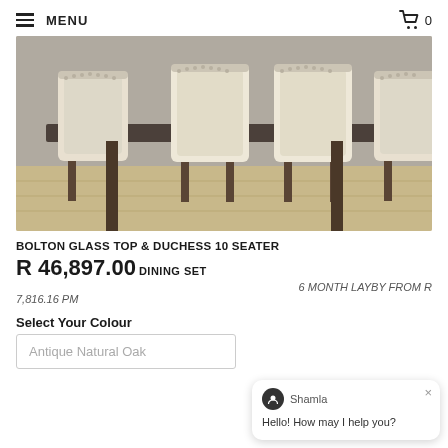MENU  0
[Figure (photo): Dining set showing the backs of upholstered beige chairs around a dark wood/glass dining table on a wooden floor, against a grey wall.]
BOLTON GLASS TOP & DUCHESS 10 SEATER
R 46,897.00 DINING SET
6 MONTH LAYBY FROM R 7,816.16 PM
Select Your Colour
Antique Natural Oak